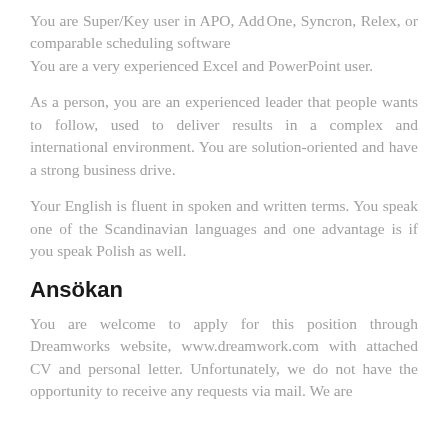You are Super/Key user in APO, Add One, Syncron, Relex, or comparable scheduling software
You are a very experienced Excel and PowerPoint user.
As a person, you are an experienced leader that people wants to follow, used to deliver results in a complex and international environment. You are solution-oriented and have a strong business drive.
Your English is fluent in spoken and written terms. You speak one of the Scandinavian languages and one advantage is if you speak Polish as well.
Ansökan
You are welcome to apply for this position through Dreamworks website, www.dreamwork.com with attached CV and personal letter. Unfortunately, we do not have the opportunity to receive any requests via mail. We are